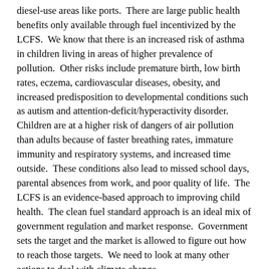diesel-use areas like ports.  There are large public health benefits only available through fuel incentivized by the LCFS.  We know that there is an increased risk of asthma in children living in areas of higher prevalence of pollution.  Other risks include premature birth, low birth rates, eczema, cardiovascular diseases, obesity, and increased predisposition to developmental conditions such as autism and attention-deficit/hyperactivity disorder.  Children are at a higher risk of dangers of air pollution than adults because of faster breathing rates, immature immunity and respiratory systems, and increased time outside.  These conditions also lead to missed school days, parental absences from work, and poor quality of life.  The LCFS is an evidence-based approach to improving child health.  The clean fuel standard approach is an ideal mix of government regulation and market response.  Government sets the target and the market is allowed to figure out how to reach those targets.  We need to look at many other actions to deal with climate change.
(Opposed) The LCFS is not a strong state policy and the imbalance of costs and benefits is concerning at this time of economic and public health challenges.  The Legislature